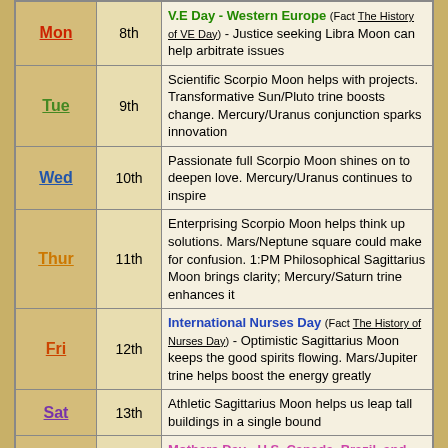| Day | Date | Description |
| --- | --- | --- |
| Mon | 8th | V.E Day - Western Europe (Fact The History of VE Day) - Justice seeking Libra Moon can help arbitrate issues |
| Tue | 9th | Scientific Scorpio Moon helps with projects. Transformative Sun/Pluto trine boosts change. Mercury/Uranus conjunction sparks innovation |
| Wed | 10th | Passionate full Scorpio Moon shines on to deepen love. Mercury/Uranus continues to inspire |
| Thur | 11th | Enterprising Scorpio Moon helps think up solutions. Mars/Neptune square could make for confusion. 1:PM Philosophical Sagittarius Moon brings clarity; Mercury/Saturn trine enhances it |
| Fri | 12th | International Nurses Day (Fact The History of Nurses Day) - Optimistic Sagittarius Moon keeps the good spirits flowing. Mars/Jupiter trine helps boost the energy greatly |
| Sat | 13th | Athletic Sagittarius Moon helps us leap tall buildings in a single bound |
| Sun | 14th | Mothers Day - U.S, Canada, Brazil, and Australia (Fact The History of Mothers Day) - Faithful Capricorn Moon helps us take care of family business |
| Mon |  | Faithful Capricorn Moon helps us take care of |